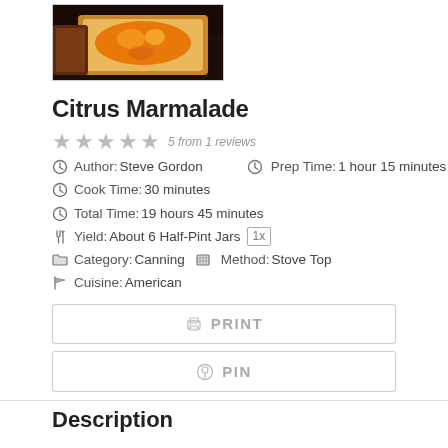[Figure (photo): Photo of citrus marmalade on toast on a dark plate]
Citrus Marmalade
★ ★ ★ ★ ★  5 from 1 reviews
Author: Steve Gordon  Prep Time: 1 hour 15 minutes
Cook Time: 30 minutes
Total Time: 19 hours 45 minutes
Yield: About 6 Half-Pint Jars  1x
Category: Canning  Method: Stove Top
Cuisine: American
PRINT
PIN
Description